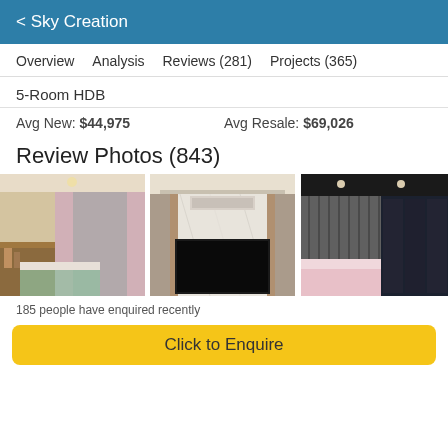< Sky Creation
Overview   Analysis   Reviews (281)   Projects (365)
5-Room HDB
Avg New: $44,975    Avg Resale: $69,026
Review Photos (843)
[Figure (photo): Three interior design photos of HDB apartment: bedroom with pink curtains and wooden desk, living room with TV on marble wall, bedroom with dark curtains and pink bedding]
185 people have enquired recently
Click to Enquire